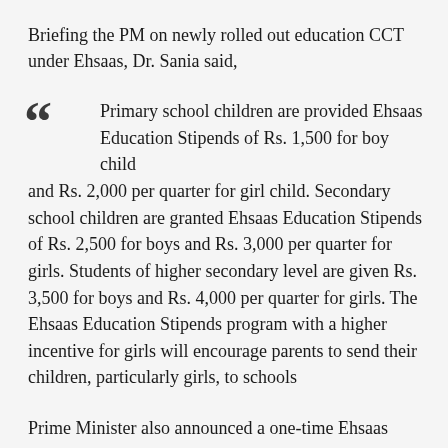Briefing the PM on newly rolled out education CCT under Ehsaas, Dr. Sania said,
Primary school children are provided Ehsaas Education Stipends of Rs. 1,500 for boy child and Rs. 2,000 per quarter for girl child. Secondary school children are granted Ehsaas Education Stipends of Rs. 2,500 for boys and Rs. 3,000 per quarter for girls. Students of higher secondary level are given Rs. 3,500 for boys and Rs. 4,000 per quarter for girls. The Ehsaas Education Stipends program with a higher incentive for girls will encourage parents to send their children, particularly girls, to schools
Prime Minister also announced a one-time Ehsaas